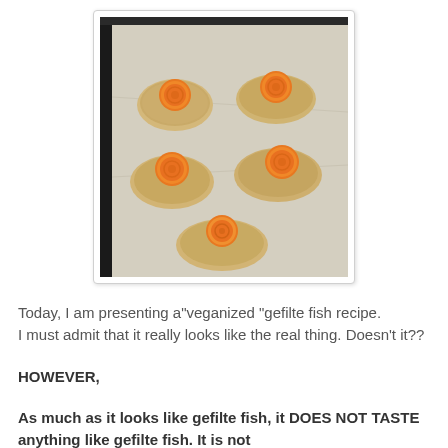[Figure (photo): Five oval fish-cake patties each topped with a round orange carrot slice, arranged on parchment-lined baking tray. The patties are beige/tan colored and rustic in shape.]
Today, I am presenting a"veganized "gefilte fish recipe.
I must admit that it really looks like the real thing. Doesn't it??
HOWEVER,
As much as it looks like gefilte fish, it DOES NOT TASTE anything like gefilte fish. It is not